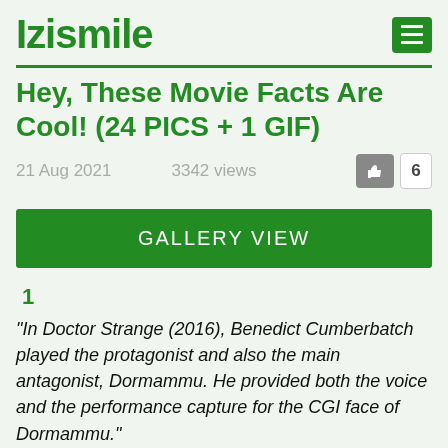Izismile
Hey, These Movie Facts Are Cool! (24 PICS + 1 GIF)
21 Aug 2021    3342 views    6
GALLERY VIEW
1
"In Doctor Strange (2016), Benedict Cumberbatch played the protagonist and also the main antagonist, Dormammu. He provided both the voice and the performance capture for the CGI face of Dormammu."